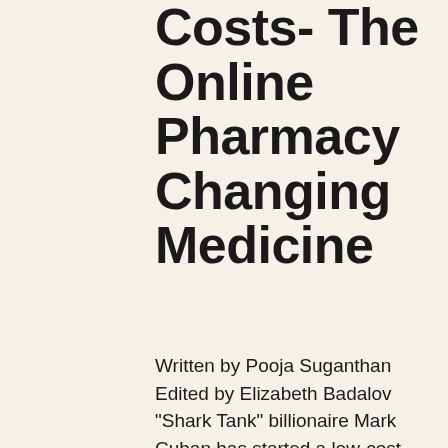Costs- The Online Pharmacy Changing Medicine
Written by Pooja Suganthan Edited by Elizabeth Badalov "Shark Tank" billionaire Mark Cuban has started a low-cost online pharmacy. The Mark Cuban Cost Plus Drug Company (MCCPDC) seeks to sell common prescription medications at a discounted price. On the Cost Plus website, Cuban advertises that "Everyone should have safe, affordable medicines with